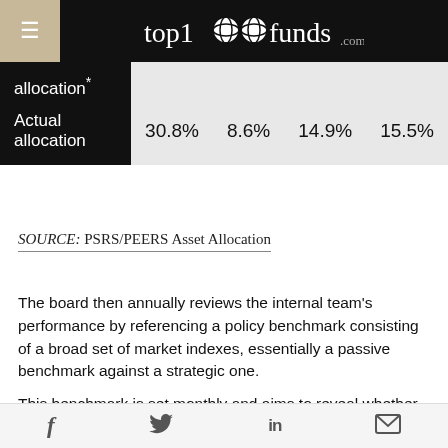top1000funds.com
| allocation* |  |  |  |  |
| Actual allocation | 30.8% | 8.6% | 14.9% | 15.5% |
SOURCE: PSRS/PEERS Asset Allocation
The board then annually reviews the internal team's performance by referencing a policy benchmark consisting of a broad set of market indexes, essentially a passive benchmark against a strategic one.
This benchmark is set monthly and aims to reveal whether the investment team's decision to overweight or
f  twitter  in  mail